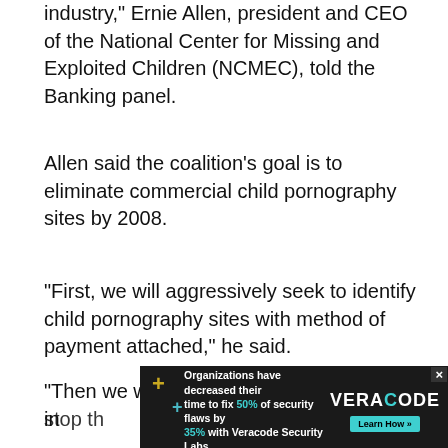industry," Ernie Allen, president and CEO of the National Center for Missing and Exploited Children (NCMEC), told the Banking panel.
Allen said the coalition's goal is to eliminate commercial child pornography sites by 2008.
“First, we will aggressively seek to identify child pornography sites with method of payment attached,” he said.
“Then we will work with the credit card in... stop th...
[Figure (other): Advertisement overlay for Veracode Security Labs stating: 'Organizations have decreased their time to fix 50% of security flaws by 35% with Veracode Security Labs.' with a 'Learn How »' button.]